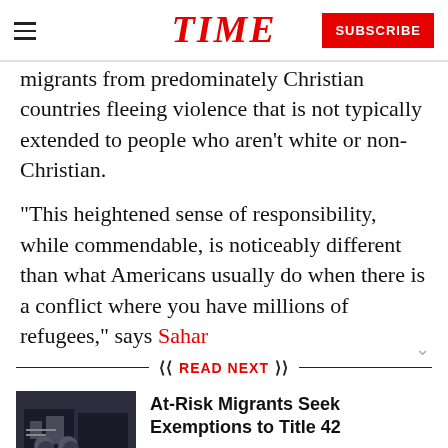TIME — SUBSCRIBE
migrants from predominately Christian countries fleeing violence that is not typically extended to people who aren't white or non-Christian.
“This heightened sense of responsibility, while commendable, is noticeably different than what Americans usually do when there is a conflict where you have millions of refugees,” says Sahar
READ NEXT
At-Risk Migrants Seek Exemptions to Title 42